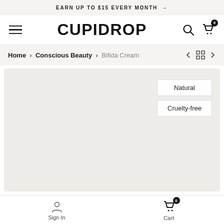EARN UP TO $15 EVERY MONTH →
CUPIDROP
Home › Conscious Beauty › Bifida Cream
[Figure (screenshot): Product image area with light gray background showing Natural and Cruelty-free badges]
Sign In  Cart